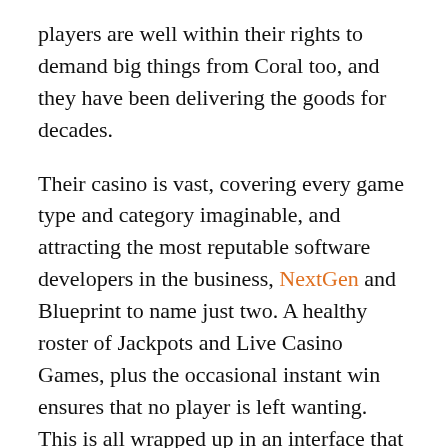players are well within their rights to demand big things from Coral too, and they have been delivering the goods for decades.
Their casino is vast, covering every game type and category imaginable, and attracting the most reputable software developers in the business, NextGen and Blueprint to name just two. A healthy roster of Jackpots and Live Casino Games, plus the occasional instant win ensures that no player is left wanting. This is all wrapped up in an interface that does business in a smooth, matter of fact manner with no unnecessary noise.
From humble beginnings on the streets of London, Coral has become one of the biggest names not just in online gambling, but in the betting industry as a whole. In fact, you will find at least one of their betting shops